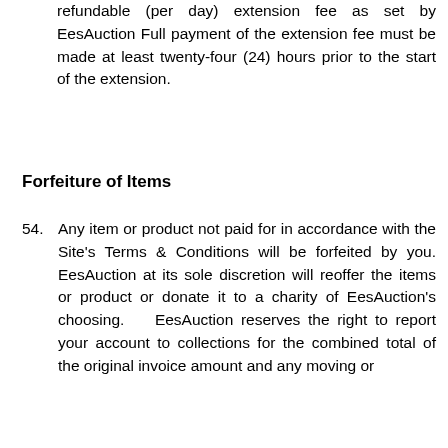refundable (per day) extension fee as set by EesAuction Full payment of the extension fee must be made at least twenty-four (24) hours prior to the start of the extension.
Forfeiture of Items
54. Any item or product not paid for in accordance with the Site's Terms & Conditions will be forfeited by you. EesAuction at its sole discretion will reoffer the items or product or donate it to a charity of EesAuction's choosing.   EesAuction reserves the right to report your account to collections for the combined total of the original invoice amount and any moving or